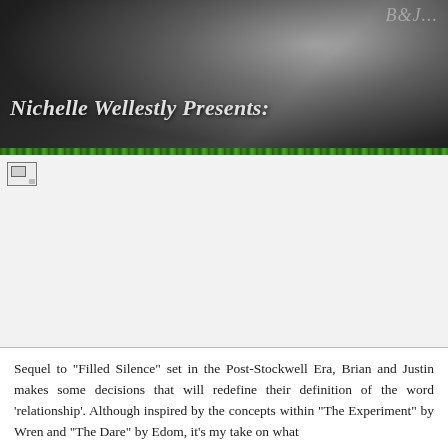[Figure (photo): Black and white header image with a person resting, dark background with decorative script text overlay]
Nichelle Wellestly Presents:
[Figure (illustration): Broken image placeholder for a book cover in the post-header section]
Sequel to "Filled Silence" set in the Post-Stockwell Era, Brian and Justin makes some decisions that will redefine their definition of the word 'relationship'. Although inspired by the concepts within "The Experiment" by Wren and "The Dare" by Edom, it's my take on what